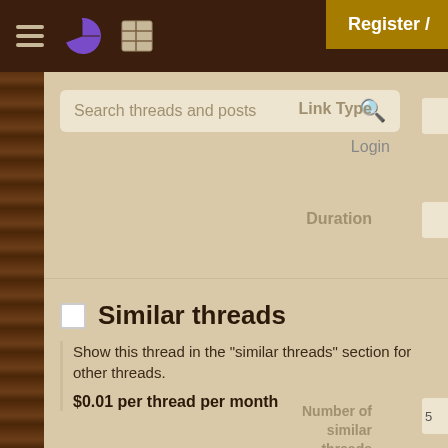Register / Login
Search threads and posts
Link Type
Login
Duration
Similar threads
Show this thread in the "similar threads" section for other threads.
$0.01 per thread per month
Number of similar threads
Duration